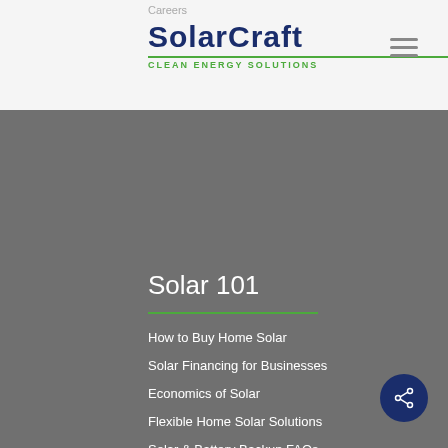Careers
[Figure (logo): SolarCraft Clean Energy Solutions logo with dark blue text and green underline/tagline]
Solar 101
How to Buy Home Solar
Solar Financing for Businesses
Economics of Solar
Flexible Home Solar Solutions
Solar & Battery Backup FAQs
Solar Electric - How Solar Works
Solar Myths & Facts